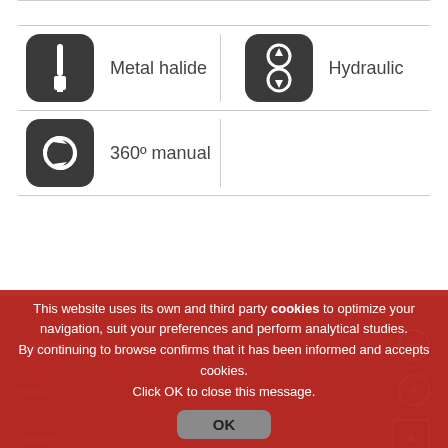[Figure (illustration): Icon: screwdriver/tool on dark rounded square background]
Metal halide
[Figure (illustration): Icon: up/down arrows on dark rounded square background]
Hydraulic
[Figure (illustration): Icon: 360 degree rotation arrows on dark rounded square background]
360º manual
specifications
specifications
mast
canopy
This website uses its own and third party cookies to optimize your navigation, suit your preferences and perform analytical studies.
By continuing to browse confirms that it has been informed and accepts cookies.
Click OK to close this message.